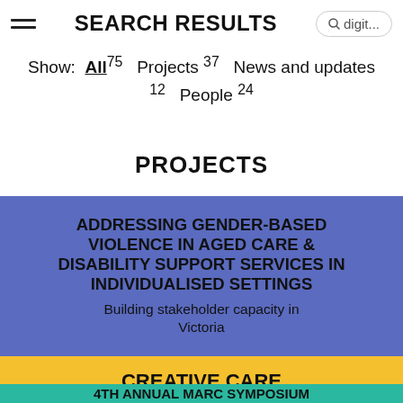SEARCH RESULTS
Show: All 75  Projects 37  News and updates 12  People 24
PROJECTS
ADDRESSING GENDER-BASED VIOLENCE IN AGED CARE & DISABILITY SUPPORT SERVICES IN INDIVIDUALISED SETTINGS
Building stakeholder capacity in Victoria
CREATIVE CARE
Exploring creative practice and teaching in health and wellbeing
4TH ANNUAL MARC SYMPOSIUM